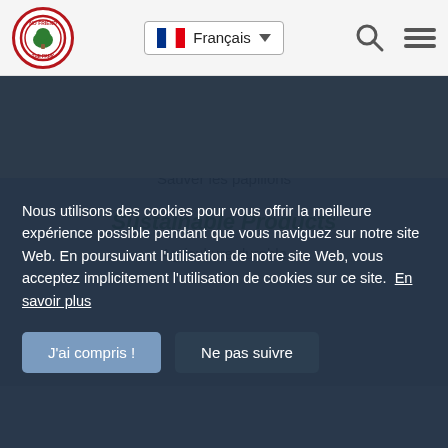Navigation bar with logo, Français language selector, search icon, menu icon
Friend of the Sport
Conservation Projects
Sauver les papillons
Sustainable Products
Agriculture durable
Nous utilisons des cookies pour vous offrir la meilleure expérience possible pendant que vous naviguez sur notre site Web. En poursuivant l'utilisation de notre site Web, vous acceptez implicitement l'utilisation de cookies sur ce site. En savoir plus
J'ai compris !
Ne pas suivre